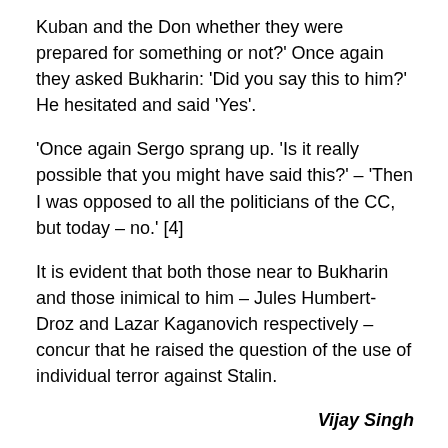Kuban and the Don whether they were prepared for something or not?' Once again they asked Bukharin: 'Did you say this to him?' He hesitated and said 'Yes'.
'Once again Sergo sprang up. 'Is it really possible that you might have said this?' – 'Then I was opposed to all the politicians of the CC, but today – no.' [4]
It is evident that both those near to Bukharin and those inimical to him – Jules Humbert-Droz and Lazar Kaganovich respectively – concur that he raised the question of the use of individual terror against Stalin.
Vijay Singh
References:
1. Feliks Chuyev, 'Thus Spake Kaganovich',
'Revolutionya Rossiya' Vol. 1, No. 3, September 1995